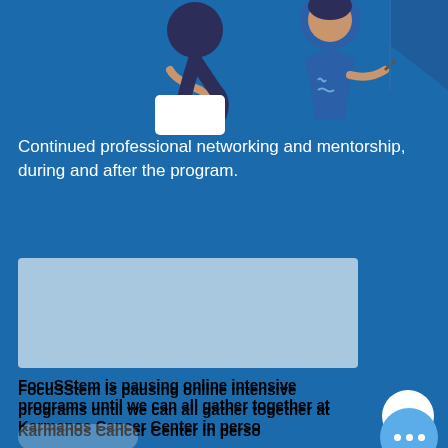[Figure (illustration): Two illustrated figures in a discussion setting with speech bubbles, blue tones, on dark blue background]
Continued professional networking and mentorship, during and after the program.
[Figure (other): Light blue placeholder rectangle, possibly an image or video thumbnail]
FocuSStem is pausing online intensive programs until we can all gather together at Karmanos Cancer Center in person.
Click the 'Get Notified' button to get updates.